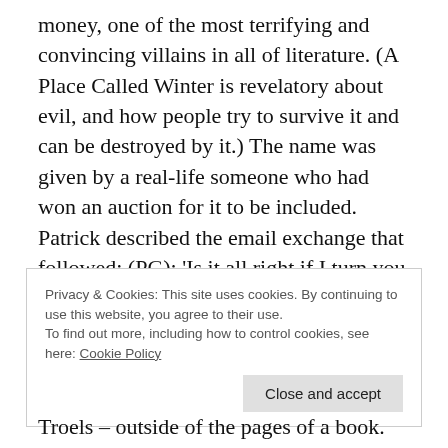money, one of the most terrifying and convincing villains in all of literature. (A Place Called Winter is revelatory about evil, and how people try to survive it and can be destroyed by it.) The name was given by a real-life someone who had won an auction for it to be included. Patrick described the email exchange that followed: (PG): 'Is it all right if I turn you into a psychopathic rapist?' [LONG TUMBLEWEED EMAIL SILENCE] (TM): 'OK, as long as he is hot.'
Privacy & Cookies: This site uses cookies. By continuing to use this website, you agree to their use.
To find out more, including how to control cookies, see here: Cookie Policy
Close and accept
Troels – outside of the pages of a book.